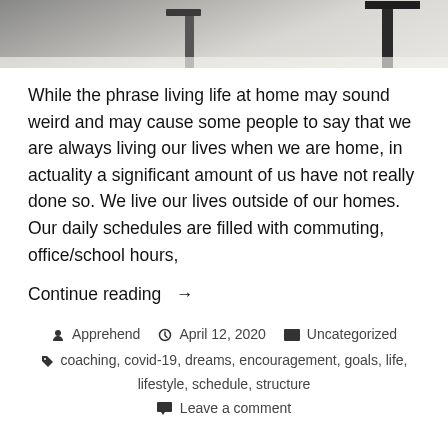[Figure (photo): Partial black and white photo showing furniture legs (table/chair) on a light rug or floor, cropped at top of page]
While the phrase living life at home may sound weird and may cause some people to say that we are always living our lives when we are home, in actuality a significant amount of us have not really done so. We live our lives outside of our homes. Our daily schedules are filled with commuting, office/school hours,
Continue reading →
Apprehend   April 12, 2020   Uncategorized
coaching, covid-19, dreams, encouragement, goals, life, lifestyle, schedule, structure
Leave a comment